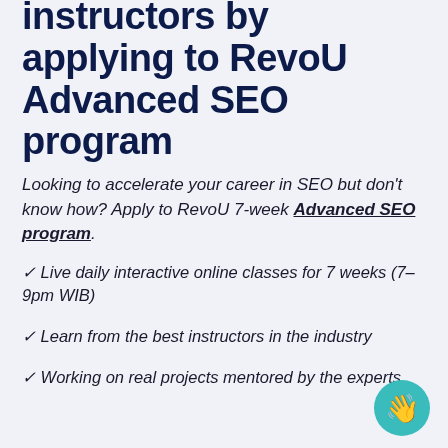instructors by applying to RevoU Advanced SEO program
Looking to accelerate your career in SEO but don't know how? Apply to RevoU 7-week Advanced SEO program.
✓ Live daily interactive online classes for 7 weeks (7–9pm WIB)
✓ Learn from the best instructors in the industry
✓ Working on real projects mentored by the experts
[Figure (illustration): Teal circle with waving hand emoji icon in bottom right corner]